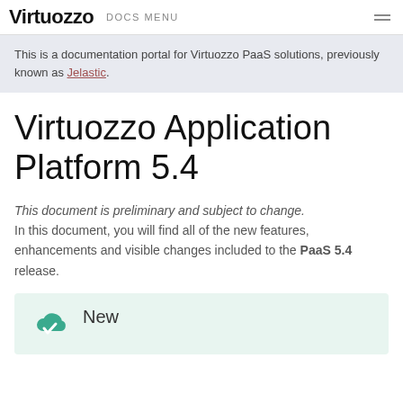Virtuozzo  DOCS MENU
This is a documentation portal for Virtuozzo PaaS solutions, previously known as Jelastic.
Virtuozzo Application Platform 5.4
This document is preliminary and subject to change. In this document, you will find all of the new features, enhancements and visible changes included to the PaaS 5.4 release.
[Figure (illustration): Green cloud icon with white checkmark, followed by 'New' label, on a light green background box]